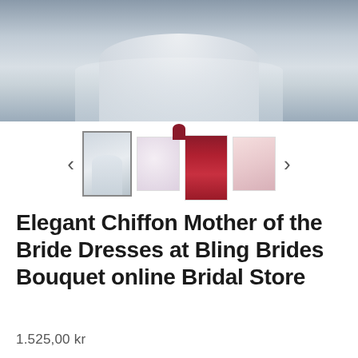[Figure (photo): Main product photo showing a white/light grey chiffon ballgown mother of the bride dress displayed in a bridal store setting]
[Figure (photo): Thumbnail gallery row showing four dress images: selected white/grey gown (bordered), lace detail close-up, dark red/burgundy gown, and pink gown, with left and right navigation arrows]
Elegant Chiffon Mother of the Bride Dresses at Bling Brides Bouquet online Bridal Store
1.525,00 kr